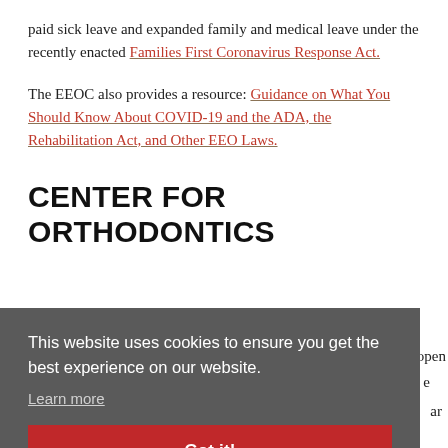paid sick leave and expanded family and medical leave under the recently enacted Families First Coronavirus Response Act.
The EEOC also provides a resource: Guidance on What You Should Know About COVID-19 and the ADA, the Rehabilitation Act, and Other EEO Laws.
CENTER FOR ORTHODONTICS
This website uses cookies to ensure you get the best experience on our website. Learn more  Got it!